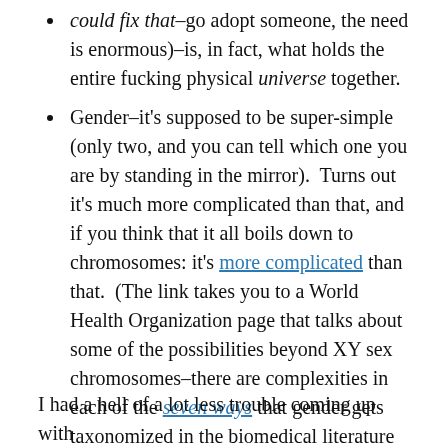could fix that–go adopt someone, the need is enormous)–is, in fact, what holds the entire fucking physical universe together.
Gender–it's supposed to be super-simple (only two, and you can tell which one you are by standing in the mirror).  Turns out it's much more complicated than that, and if you think that it all boils down to chromosomes: it's more complicated than that.  (The link takes you to a World Health Organization page that talks about some of the possibilities beyond XY sex chromosomes–there are complexities in each of the seven ways that gender gets taxonomized in the biomedical literature alone.)
I had a hell of a lot less trouble coming up with